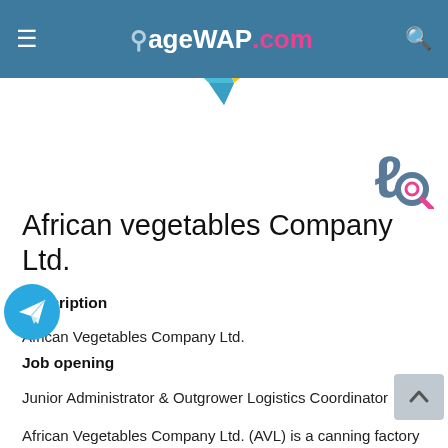☰  &AgeWAP.com  🔍
[Figure (logo): Website logo with checkmark shape in blue and yellow below the header bar]
[Figure (logo): AgeWAP.com page icon top right]
African vegetables Company Ltd.
Description
African Vegetables Company Ltd.
Job opening
Junior Administrator & Outgrower Logistics Coordinator
African Vegetables Company Ltd. (AVL) is a canning factory and farm in Machame, Kilimanjaro, owned by Dutch holding JAMAEL